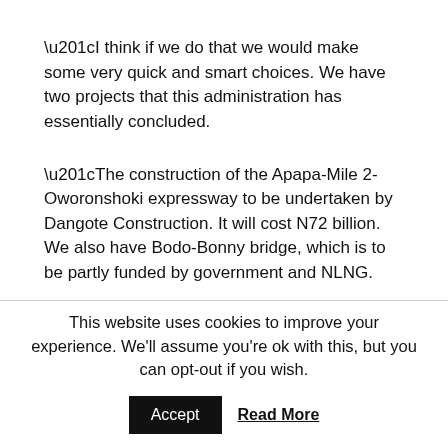“I think if we do that we would make some very quick and smart choices. We have two projects that this administration has essentially concluded.
“The construction of the Apapa-Mile 2-Oworonshoki expressway to be undertaken by Dangote Construction. It will cost N72 billion. We also have Bodo-Bonny bridge, which is to be partly funded by government and NLNG.
“Each of those parties are providing N60 billion each. Who in the Nigerian private sector has N60 billion that they can put in infrastructure? Because these are the big tickets items we
This website uses cookies to improve your experience. We’ll assume you’re ok with this, but you can opt-out if you wish. Accept Read More